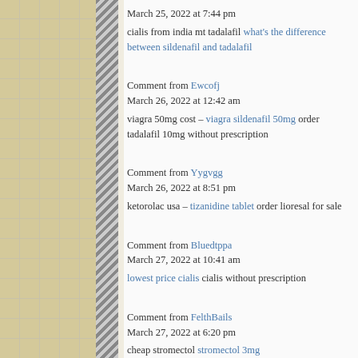March 25, 2022 at 7:44 pm
cialis from india mt tadalafil what's the difference between sildenafil and tadalafil
Comment from Ewcofj
March 26, 2022 at 12:42 am
viagra 50mg cost – viagra sildenafil 50mg order tadalafil 10mg without prescription
Comment from Yygvgg
March 26, 2022 at 8:51 pm
ketorolac usa – tizanidine tablet order lioresal for sale
Comment from Bluedtppa
March 27, 2022 at 10:41 am
lowest price cialis cialis without prescription
Comment from FelthBails
March 27, 2022 at 6:20 pm
cheap stromectol stromectol 3mg
Comment from Tsvqah
March 27, 2022 at 6:24 pm
buy colchicine 0.5mg pills – buy generic inderal order strattera without prescription